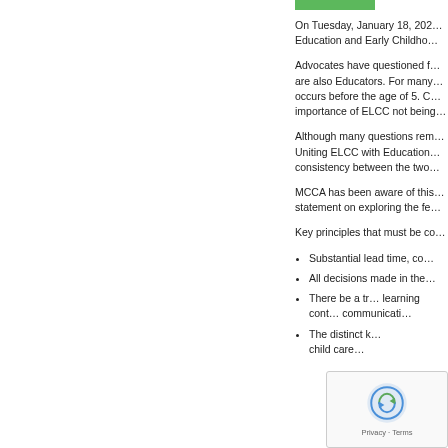[Figure (other): Green horizontal bar/button at top right of page]
On Tuesday, January 18, 202… Education and Early Childho…
Advocates have questioned f… are also Educators. For many… occurs before the age of 5. C… importance of ELCC not being…
Although many questions rem… Uniting ELCC with Education… consistency between the two…
MCCA has been aware of thi… statement on exploring the fe…
Key principles that must be co…
Substantial lead time, co…
All decisions made in the…
There be a tr… learning cont… communicati…
The distinct k… child care…